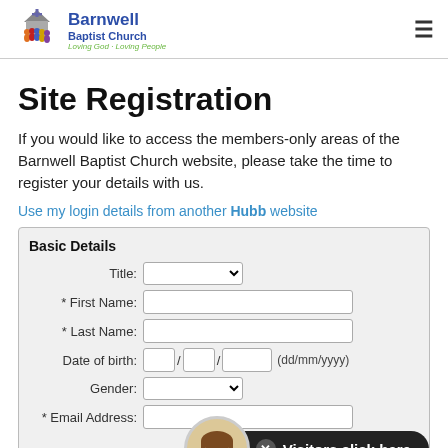Barnwell Baptist Church — Loving God · Loving People
Site Registration
If you would like to access the members-only areas of the Barnwell Baptist Church website, please take the time to register your details with us.
Use my login details from another Hubb website
| Field | Input |
| --- | --- |
| Title: | (dropdown) |
| * First Name: | (text input) |
| * Last Name: | (text input) |
| Date of birth: | dd / mm / yyyy |
| Gender: | (dropdown) |
| * Email Address: | (text input) |
[Figure (illustration): Cartoon avatar of a person with brown hair inside a circular frame, next to a dark rounded button reading 'Visitors click here.']